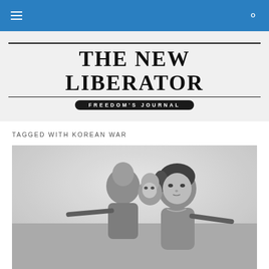THE NEW LIBERATOR — FREEDOM'S JOURNAL (navigation bar)
[Figure (logo): The New Liberator masthead logo with subtitle 'FREEDOM'S JOURNAL' in an oval badge]
TAGGED WITH KOREAN WAR
[Figure (photo): Black and white photograph of a Korean girl carrying a young child on her back, with a rifle visible, Korean War era documentary photo]